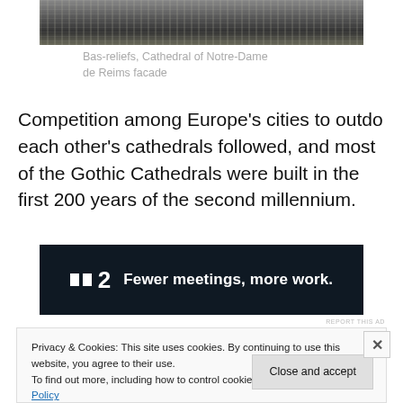[Figure (photo): Bas-reliefs detail photo at top of page, showing stone carved figures in dark tones]
Bas-reliefs, Cathedral of Notre-Dame de Reims facade
Competition among Europe's cities to outdo each other's cathedrals followed, and most of the Gothic Cathedrals were built in the first 200 years of the second millennium.
[Figure (screenshot): Advertisement banner for P2: Fewer meetings, more work. Dark background with white logo and bold white text.]
REPORT THIS AD
Privacy & Cookies: This site uses cookies. By continuing to use this website, you agree to their use.
To find out more, including how to control cookies, see here: Cookie Policy